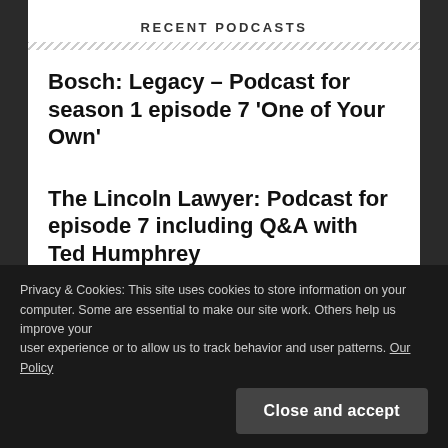RECENT PODCASTS
Bosch: Legacy – Podcast for season 1 episode 7 'One of Your Own'
The Lincoln Lawyer: Podcast for episode 7 including Q&A with Ted Humphrey
Privacy & Cookies: This site uses cookies to store information on your computer. Some are essential to make our site work. Others help us improve your user experience or to allow us to track behavior and user patterns. Our Policy
Close and accept